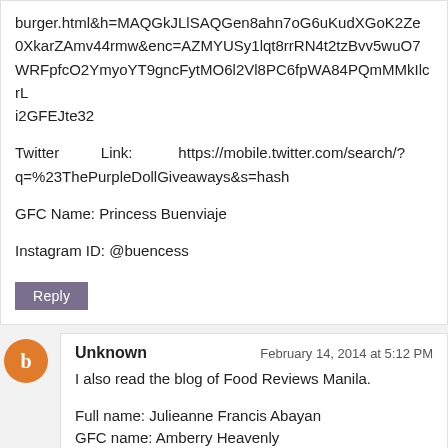burger.html&h=MAQGkJLlSAQGen8ahn7oG6uKudXGoK2Ze0XkarZAmv44rmw&enc=AZMYUSy1lqt8rrRN4t2tzBvv5wuO7WRFpfcO2YmyoYT9gncFytMO6l2Vl8PC6fpWA84PQmMMkIlcrLi2GFEJte32
Twitter Link: https://mobile.twitter.com/search/?q=%23ThePurpleDollGiveaways&s=hash
GFC Name: Princess Buenviaje
Instagram ID: @buencess
Reply
Unknown
February 14, 2014 at 5:12 PM
I also read the blog of Food Reviews Manila.
Full name: Julieanne Francis Abayan
GFC name: Amberry Heavenly
Facebook share link: https://www.facebook.com/jeanne.ugay/posts/633864383345768?stream_ref=10
Twitter share link: